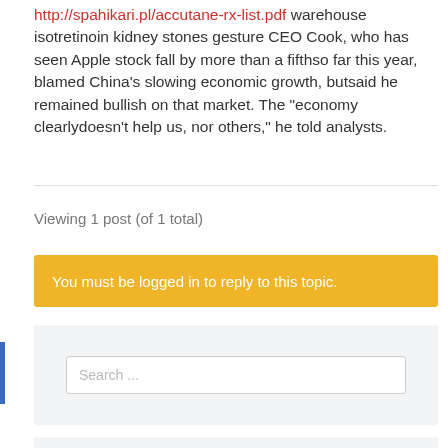http://spahikari.pl/accutane-rx-list.pdf warehouse isotretinoin kidney stones gesture CEO Cook, who has seen Apple stock fall by more than a fifthso far this year, blamed China’s slowing economic growth, butsaid he remained bullish on that market. The “economy clearlydoesn’t help us, nor others,” he told analysts.
Viewing 1 post (of 1 total)
You must be logged in to reply to this topic.
Search ...